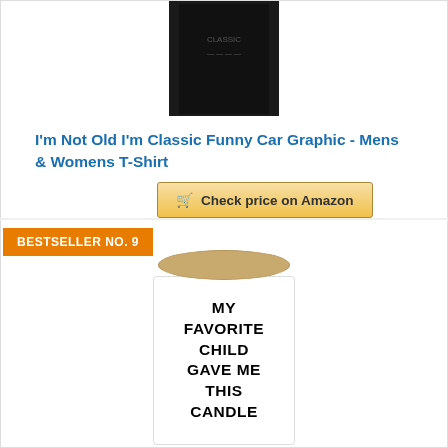[Figure (photo): Black t-shirt product image, partially cropped at top]
I'm Not Old I'm Classic Funny Car Graphic - Mens & Womens T-Shirt
Check price on Amazon
BESTSELLER NO. 9
[Figure (photo): White ceramic candle jar with wooden lid, text on jar reads: MY FAVORITE CHILD GAVE ME THIS CANDLE]